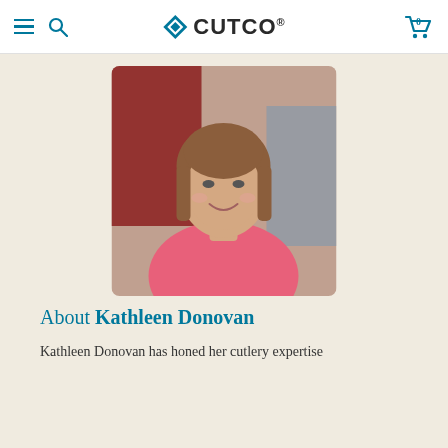CUTCO navigation header with hamburger menu, search icon, CUTCO logo, and cart icon showing 0 items
[Figure (photo): Portrait photo of a smiling woman with short brown hair wearing a pink top, seated indoors with a reddish background]
About Kathleen Donovan
Kathleen Donovan has honed her cutlery expertise